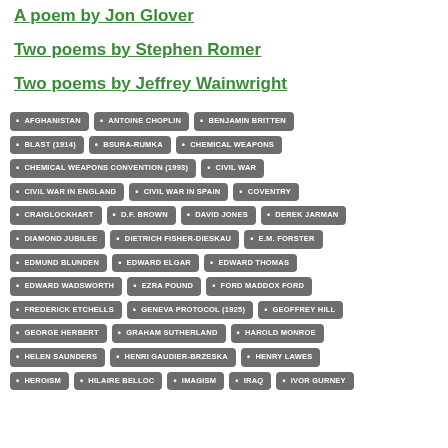A poem by Jon Glover
Two poems by Stephen Romer
Two poems by Jeffrey Wainwright
AFGHANISTAN • ANTOINE CHOPLIN • BENJAMIN BRITTEN • BLAST (1914) • BSURA-RUMKA • CHEMICAL WEAPONS • CHEMICAL WEAPONS CONVENTION (1993) • CIVIL WAR • CIVIL WAR IN ENGLAND • CIVIL WAR IN SPAIN • COVENTRY • CRAIGLOCKHART • D.F. BROWN • DAVID JONES • DEREK JARMAN • DIAMOND JUBILEE • DIETRICH FISHER-DIESKAU • E.M. FORSTER • EDMUND BLUNDEN • EDWARD ELGAR • EDWARD THOMAS • EDWARD WADSWORTH • EZRA POUND • FORD MADDOX FORD • FREDERICK ETCHELLS • GENEVA PROTOCOL (1925) • GEOFFREY HILL • GEORGE HERBERT • GRAHAM SUTHERLAND • HAROLD MONROE • HELEN SAUNDERS • HENRI GAUDIER-BRZESKA • HENRY LAWES • HEROISM • HILAIRE BELLOC • IMAGISM • IRAQ • IVOR GURNEY